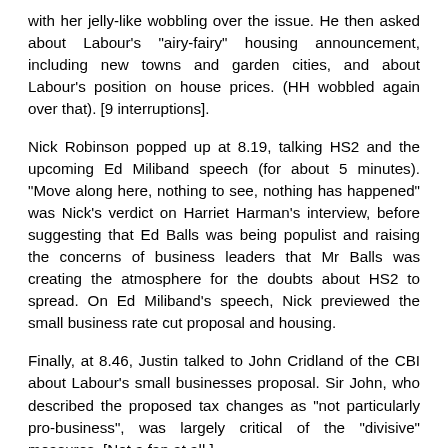with her jelly-like wobbling over the issue. He then asked about Labour's "airy-fairy" housing announcement, including new towns and garden cities, and about Labour's position on house prices. (HH wobbled again over that). [9 interruptions].
Nick Robinson popped up at 8.19, talking HS2 and the upcoming Ed Miliband speech (for about 5 minutes). "Move along here, nothing to see, nothing has happened" was Nick's verdict on Harriet Harman's interview, before suggesting that Ed Balls was being populist and raising the concerns of business leaders that Mr Balls was creating the atmosphere for the doubts about HS2 to spread. On Ed Miliband's speech, Nick previewed the small business rate cut proposal and housing.
Finally, at 8.46, Justin talked to John Cridland of the CBI about Labour's small businesses proposal. Sir John, who described the proposed tax changes as "not particularly pro-business", was largely critical of the "divisive" measures. [Not a fan at all.]
The coverage on Wednesday's programme kicked off with